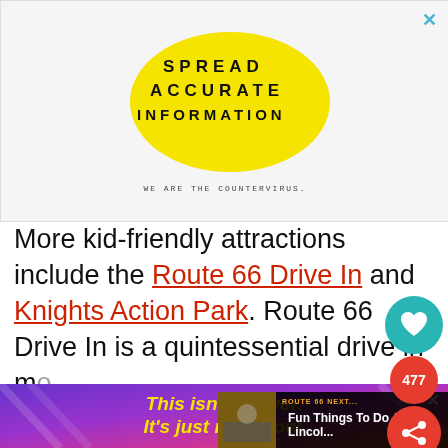[Figure (illustration): Advertisement banner with yellow speech bubble containing bold spaced text 'SPREAD ACCURATE INFORMATION' and tagline 'WE ARE THE COUNTERVIRUS.' on white background. Blue X close button top right.]
More kid-friendly attractions include the Route 66 Drive In and Knights Action Park. Route 66 Drive In is a quintessential drive in movie theater. Knights Action Park is a water park,
[Figure (infographic): Social sharing widget with teal heart button, red count badge showing 477, and red share button.]
[Figure (illustration): Bottom advertisement banner with purple/orange gradient background and yellow italic text 'This isn't forever. It's just right now.' with close buttons.]